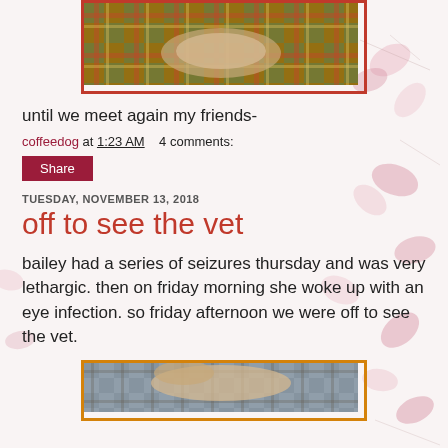[Figure (photo): Photo of a dog lying on a colorful plaid/tartan blanket, shown from above, with orange/red border]
until we meet again my friends-
coffeedog at 1:23 AM    4 comments:
Share
TUESDAY, NOVEMBER 13, 2018
off to see the vet
bailey had a series of seizures thursday and was very lethargic. then on friday morning she woke up with an eye infection. so friday afternoon we were off to see the vet.
[Figure (photo): Photo of a dog (golden/light colored) being held or examined, with orange border, partially visible at bottom of page]